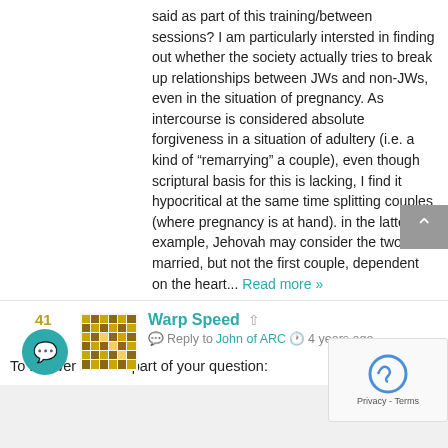said as part of this training/between sessions? I am particularly intersted in finding out whether the society actually tries to break up relationships between JWs and non-JWs, even in the situation of pregnancy. As intercourse is considered absolute forgiveness in a situation of adultery (i.e. a kind of “remarrying” a couple), even though scriptural basis for this is lacking, I find it hypocritical at the same time splitting couples (where pregnancy is at hand). in the latter example, Jehovah may consider the two married, but not the first couple, dependent on the heart... Read more »
41
[Figure (other): User avatar for Warp Speed - pixelated/mosaic pattern in gold/brown tones]
Warp Speed
Reply to John of ARC   4 years ago
To answer the first part of your question: